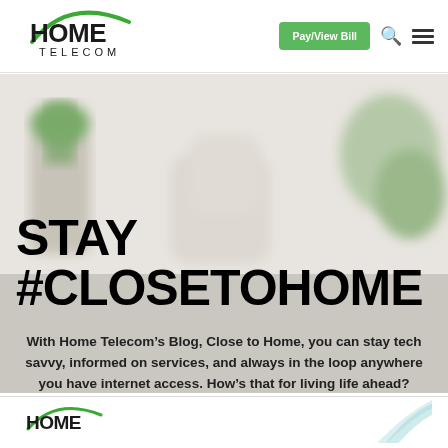HOME TELECOM | Pay/View Bill
[Figure (screenshot): Home Telecom website screenshot showing the blog page header 'STAY #CLOSETOHOME' with a blurred interior room background image]
STAY #CLOSETOHOME
With Home Telecom’s Blog, Close to Home, you can stay tech savvy, informed on services, and always in the loop anywhere you have internet access. How’s that for living life ahead?
[Figure (logo): Home Telecom logo (partial, bottom of page)]